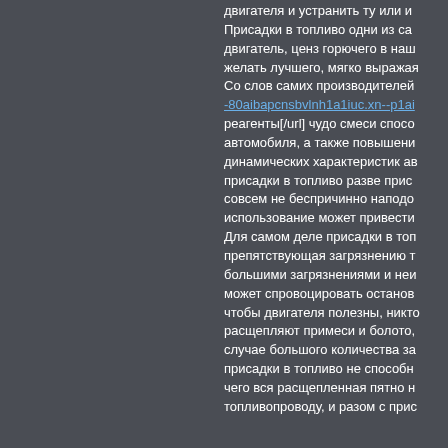двигателя и устранить ту или и... Присадки в топливо одни из са... двигатель, ценз горючего в наш... желать лучшего, мягко выража... Со слов самих производителей -80aibapcnsbvlnh1a1iuc.xn--p1ai реагенты[/url] чудо смеси спосо... автомобиля, а также повышени... динамических характеристик ав... присадки в топливо разве прис... совсем не беспричинно наподо... использование может привести ... Для самом деле присадки в топ... препятствующая загрязнению т... большими загрязнениями и неи... может спровоцировать останов... чтобы двигателя полезны, никто... расщепляют примеси и болото, ... случае большого количества за... присадки в топливо не способн... чего вся расщепленная пятно н... топливопроводу, и разом с прис...